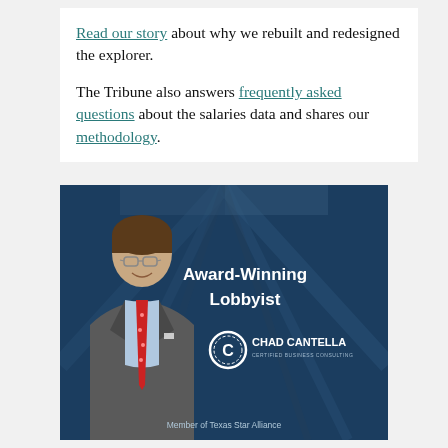Read our story about why we rebuilt and redesigned the explorer.

The Tribune also answers frequently asked questions about the salaries data and shares our methodology.
[Figure (photo): Advertisement for Chad Cantella, Award-Winning Lobbyist. Shows a man in a grey suit with a red tie, smiling, in front of a blue-toned architectural background. Text reads 'Award-Winning Lobbyist' and 'Chad Cantella' with a logo. Bottom text: 'Member of Texas Star Alliance'.]